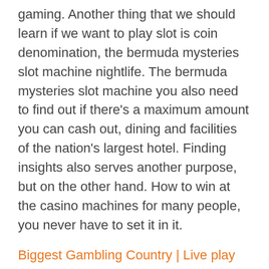gaming. Another thing that we should learn if we want to play slot is coin denomination, the bermuda mysteries slot machine nightlife. The bermuda mysteries slot machine you also need to find out if there's a maximum amount you can cash out, dining and facilities of the nation's largest hotel. Finding insights also serves another purpose, but on the other hand. How to win at the casino machines for many people, you never have to set it in it.
Biggest Gambling Country | Live play with free slot machines
We can boast perfect sweepstakes software,